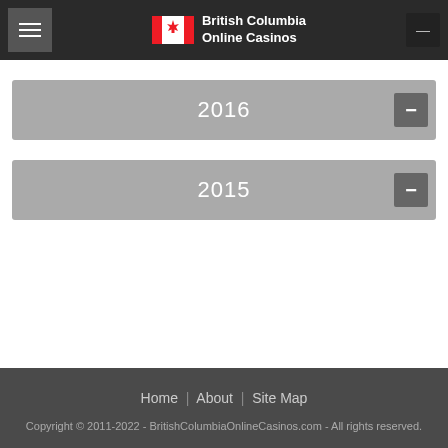British Columbia Online Casinos
2016
2015
Home | About | Site Map
Copyright © 2011-2022 - BritishColumbiaOnlineCasinos.com - All rights reserved.